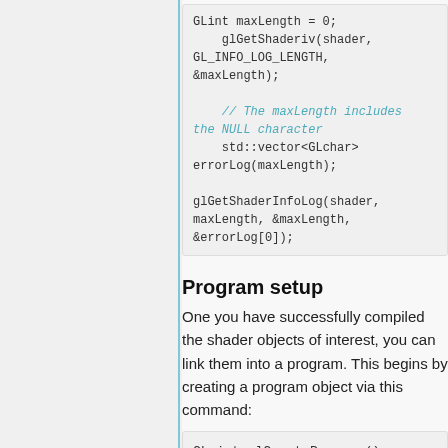GLint maxLength = 0;
    glGetShaderiv(shader, GL_INFO_LOG_LENGTH, &maxLength);

    // The maxLength includes the NULL character
    std::vector<GLchar> errorLog(maxLength);

glGetShaderInfoLog(shader, maxLength, &maxLength, &errorLog[0]);
Program setup
One you have successfully compiled the shader objects of interest, you can link them into a program. This begins by creating a program object via this command:
GLuint glCreateProgram();